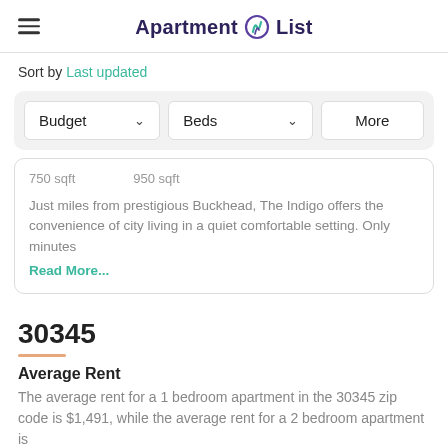Apartment List
Sort by Last updated
Budget  Beds  More
750 sqft   950 sqft
Just miles from prestigious Buckhead, The Indigo offers the convenience of city living in a quiet comfortable setting. Only minutes Read More...
30345
Average Rent
The average rent for a 1 bedroom apartment in the 30345 zip code is $1,491, while the average rent for a 2 bedroom apartment is